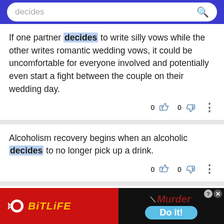decides
If one partner decides to write silly vows while the other writes romantic wedding vows, it could be uncomfortable for everyone involved and potentially even start a fight between the couple on their wedding day.
Alcoholism recovery begins when an alcoholic decides to no longer pick up a drink.
In the case of smoking, there are no positive health
[Figure (screenshot): Advertisement banner: BitLife app ad on the left (red background with sperm logo and yellow BitLife text), Murder game ad on the right (black background with 'Murder' text and 'Do it!' blue button)]